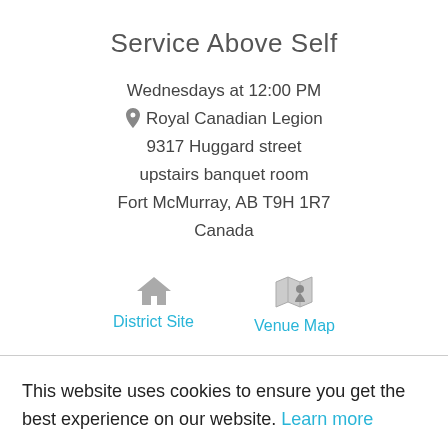Service Above Self
Wednesdays at 12:00 PM
📍 Royal Canadian Legion
9317 Huggard street
upstairs banquet room
Fort McMurray, AB T9H 1R7
Canada
[Figure (other): House icon and map pin icon with links: District Site and Venue Map]
This website uses cookies to ensure you get the best experience on our website. Learn more
GOT IT!